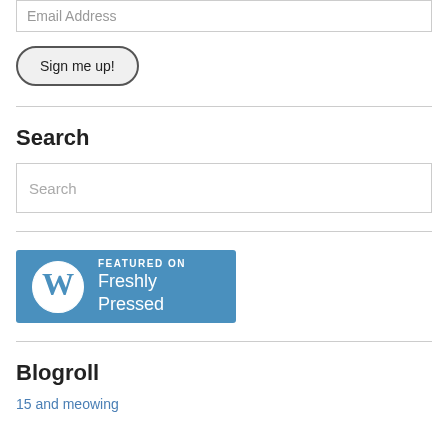Email Address
Sign me up!
Search
Search
[Figure (logo): WordPress 'Featured on Freshly Pressed' badge — blue rectangle with WordPress logo and text 'FEATURED ON Freshly Pressed']
Blogroll
15 and meowing